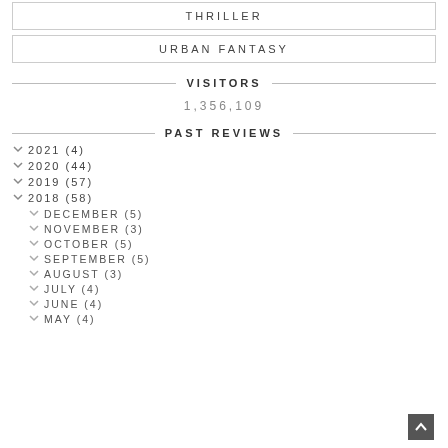THRILLER
URBAN FANTASY
VISITORS
1,356,109
PAST REVIEWS
2021 (4)
2020 (44)
2019 (57)
2018 (58)
DECEMBER (5)
NOVEMBER (3)
OCTOBER (5)
SEPTEMBER (5)
AUGUST (3)
JULY (4)
JUNE (4)
MAY (4)